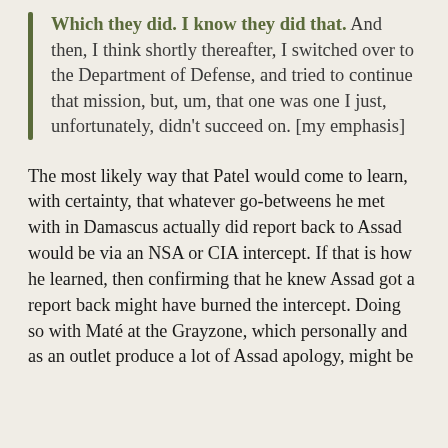Which they did. I know they did that. And then, I think shortly thereafter, I switched over to the Department of Defense, and tried to continue that mission, but, um, that one was one I just, unfortunately, didn't succeed on. [my emphasis]
The most likely way that Patel would come to learn, with certainty, that whatever go-betweens he met with in Damascus actually did report back to Assad would be via an NSA or CIA intercept. If that is how he learned, then confirming that he knew Assad got a report back might have burned the intercept. Doing so with Maté at the Grayzone, which personally and as an outlet produce a lot of Assad apology, might be